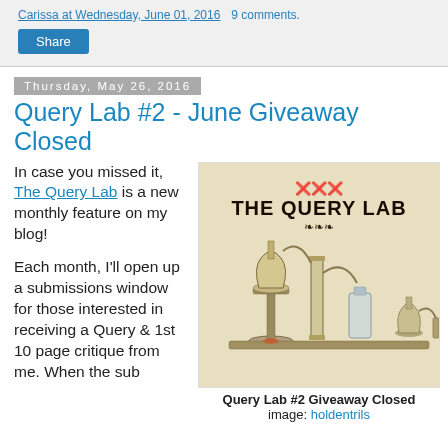Carissa at Wednesday, June 01, 2016   9 comments.
Share
Thursday, May 26, 2016
Query Lab #2 - June Giveaway Closed
In case you missed it, The Query Lab is a new monthly feature on my blog!

Each month, I'll open up a submissions window for those interested in receiving a Query & 1st 10 page critique from me. When the sub
[Figure (illustration): Vintage chemistry laboratory equipment illustration with text 'THE QUERY LAB' at the top with decorative flourishes. Shows distillation apparatus, flasks, tubes, and bottles in a sepia/beige tone.]
Query Lab #2 Giveaway Closed
image: holdentrils